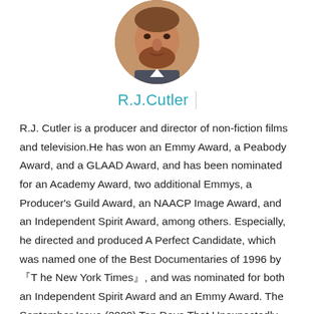[Figure (photo): Circular cropped portrait photo of R.J. Cutler, a man with a beard, shown from shoulders up.]
R.J.Cutler
R.J. Cutler is a producer and director of non-fiction films and television.He has won an Emmy Award, a Peabody Award, and a GLAAD Award, and has been nominated for an Academy Award, two additional Emmys, a Producer's Guild Award, an NAACP Image Award, and an Independent Spirit Award, among others. Especially, he directed and produced A Perfect Candidate, which was named one of the Best Documentaries of 1996 by 『The New York Times』, and was nominated for both an Independent Spirit Award and an Emmy Award. The September Issue (2009) Ten Days That Unexpectedly Cha